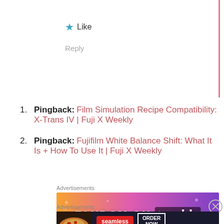★ Like
Reply
Pingback: Film Simulation Recipe Compatibility: X-Trans IV | Fuji X Weekly
Pingback: Fujifilm White Balance Shift: What It Is + How To Use It | Fuji X Weekly
Advertisements
[Figure (infographic): Fandom on Tumblr advertisement banner with orange-to-purple gradient background]
REPORT THIS AD
Advertisements
[Figure (infographic): Seamless food delivery advertisement with pizza image, Seamless logo and Order Now button]